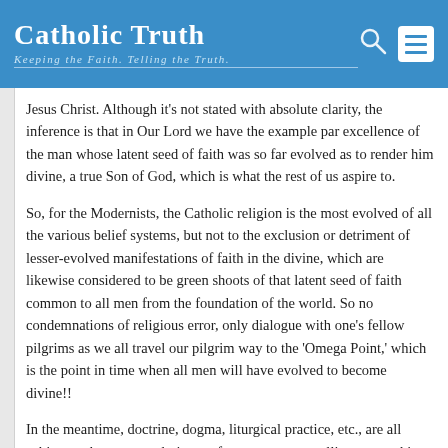Catholic Truth – Keeping the Faith. Telling the Truth.
Jesus Christ. Although it's not stated with absolute clarity, the inference is that in Our Lord we have the example par excellence of the man whose latent seed of faith was so far evolved as to render him divine, a true Son of God, which is what the rest of us aspire to.
So, for the Modernists, the Catholic religion is the most evolved of all the various belief systems, but not to the exclusion or detriment of lesser-evolved manifestations of faith in the divine, which are likewise considered to be green shoots of that latent seed of faith common to all men from the foundation of the world. So no condemnations of religious error, only dialogue with one's fellow pilgrims as we all travel our pilgrim way to the 'Omega Point,' which is the point in time when all men will have evolved to become divine!!
In the meantime, doctrine, dogma, liturgical practice, etc., are all subject to the same evolutionary forces as are propelling man to his divine destiny. These cannot remain